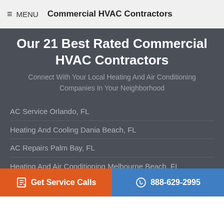≡ MENU  Commercial HVAC Contractors
Our 21 Best Rated Commercial HVAC Contractors
Connect With Your Local Heating And Air Conditioning Companies In Your Neighborhood
AC Service Orlando, FL
Heating And Cooling Dania Beach, FL
AC Repairs Palm Bay, FL
Heating And Air Conditioning Melbourne Beach, FL
24 Hour AC Service Vero Beach, FL
Get Service Calls   888-629-2995